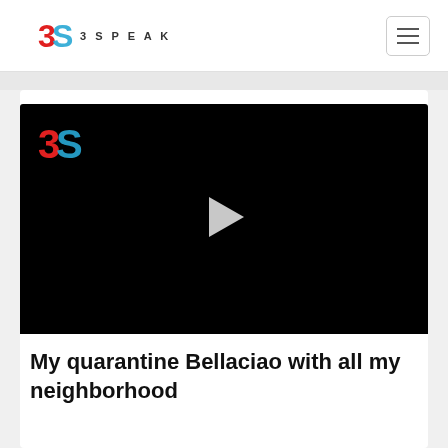3SPEAK
[Figure (screenshot): 3Speak video player thumbnail showing black screen with 3S logo top-left and play button in center]
My quarantine Bellaciao with all my neighborhood
2 OCD